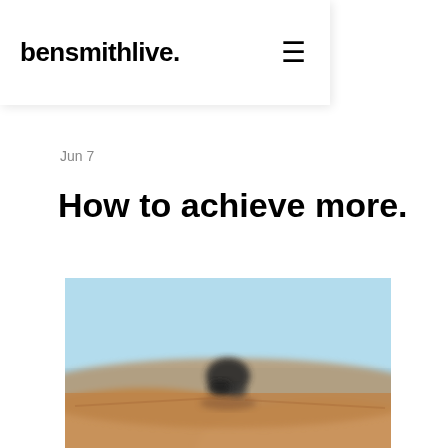bensmithlive.
Jun 7
How to achieve more.
[Figure (photo): A blurred photo of a person or vehicle on a sandy desert dune with a light blue sky in the background.]